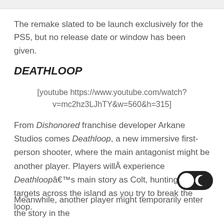The remake slated to be launch exclusively for the PS5, but no release date or window has been given.
DEATHLOOP
[youtube https://www.youtube.com/watch?v=mc2hz3LJhTY&w=560&h=315]
From Dishonored franchise developer Arkane Studios comes Deathloop, a new immersive first-person shooter, where the main antagonist might be another player. Players willÂ experience Deathloopâ€™s main story as Colt, hunting down targets across the island as you try to break the loop.
[Figure (illustration): Dark mode / light mode toggle button in the lower right corner]
Meanwhile, another player might temporarily enter the story in the